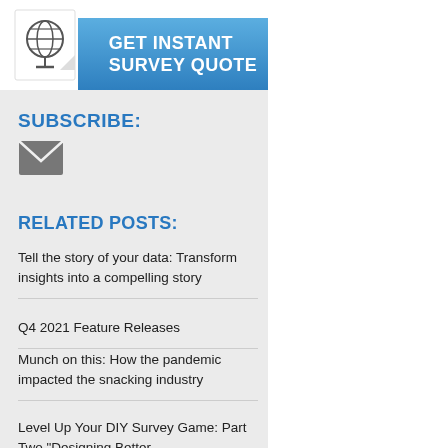[Figure (infographic): GET INSTANT SURVEY QUOTE banner with globe icon on blue gradient background]
SUBSCRIBE:
[Figure (illustration): Email envelope icon]
RELATED POSTS:
Tell the story of your data: Transform insights into a compelling story
Q4 2021 Feature Releases
Munch on this: How the pandemic impacted the snacking industry
Level Up Your DIY Survey Game: Part Two "Designing Better
Sporting Goods
In Ask Your Target Ma… apparel a few times p… so a few times per ye… year. And 18% are no…
Of those who purchas… products, making it th… of respondents saying…
Nike Kevin D…